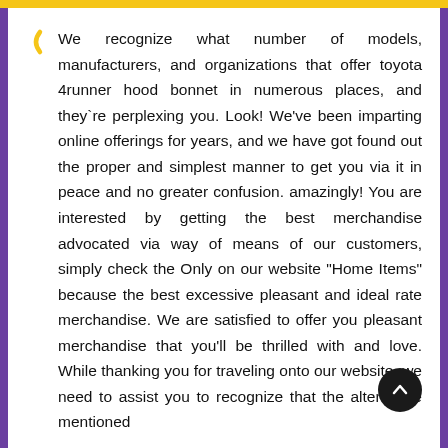We recognize what number of models, manufacturers, and organizations that offer toyota 4runner hood bonnet in numerous places, and they`re perplexing you. Look! We've been imparting online offerings for years, and we have got found out the proper and simplest manner to get you via it in peace and no greater confusion. amazingly! You are interested by getting the best merchandise advocated via way of means of our customers, simply check the Only on our website "Home Items" because the best excessive pleasant and ideal rate merchandise. We are satisfied to offer you pleasant merchandise that you'll be thrilled with and love. While thanking you for traveling onto our website, we need to assist you to recognize that the alternative mentioned